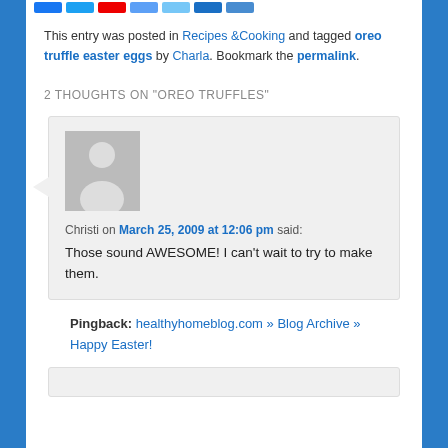This entry was posted in Recipes &Cooking and tagged oreo truffle easter eggs by Charla. Bookmark the permalink.
2 THOUGHTS ON "OREO TRUFFLES"
Christi on March 25, 2009 at 12:06 pm said: Those sound AWESOME! I can't wait to try to make them.
Pingback: healthyhomeblog.com » Blog Archive » Happy Easter!